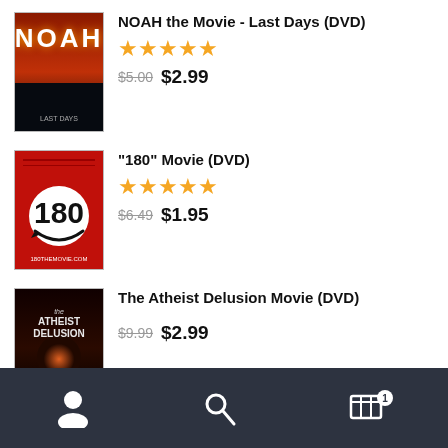[Figure (photo): DVD cover for NOAH the Movie - Last Days]
NOAH the Movie - Last Days (DVD)
[Figure (other): 5-star rating shown in yellow stars]
$5.00  $2.99
[Figure (photo): DVD cover for 180 Movie]
"180" Movie (DVD)
[Figure (other): 5-star rating shown in yellow stars]
$6.49  $1.95
[Figure (photo): DVD cover for The Atheist Delusion Movie]
The Atheist Delusion Movie (DVD)
$9.99  $2.99
Featured Products
[Figure (photo): Thumbnail for Basic Training Course]
Basic Training Course